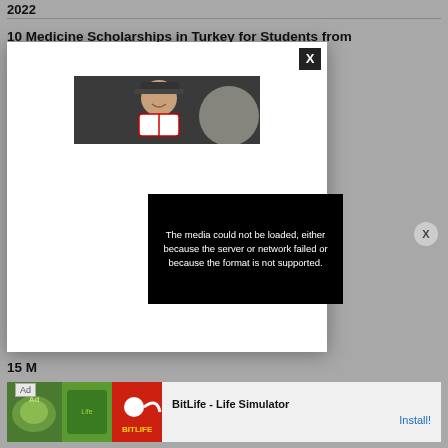2022
10 Medicine Scholarships in Turkey for Students from
[Figure (photo): Photo of a smiling man wearing a baseball cap and jersey, appearing to be a sports figure. Below is a video player showing an error message: 'The media could not be loaded, either because the server or network failed or because the format is not supported.']
15 M
[Figure (screenshot): Advertisement banner for BitLife - Life Simulator app showing game imagery and an Install button]